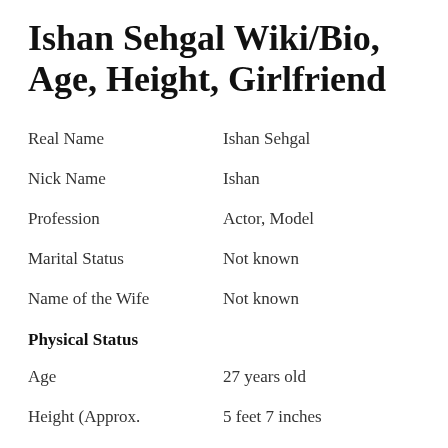Ishan Sehgal Wiki/Bio, Age, Height, Girlfriend
| Field | Value |
| --- | --- |
| Real Name | Ishan Sehgal |
| Nick Name | Ishan |
| Profession | Actor, Model |
| Marital Status | Not known |
| Name of the Wife | Not known |
| Physical Status |  |
| Age | 27 years old |
| Height (Approx. | 5 feet 7 inches |
| Weight (approx. | Not known |